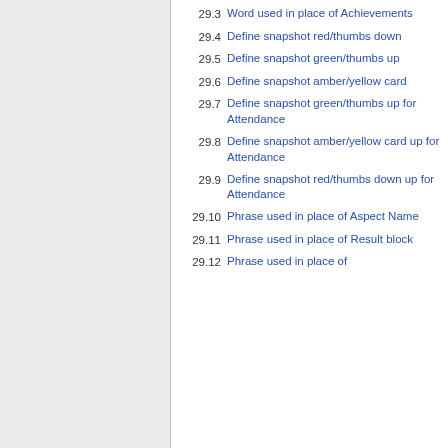29.3 Word used in place of Achievements
29.4 Define snapshot red/thumbs down
29.5 Define snapshot green/thumbs up
29.6 Define snapshot amber/yellow card
29.7 Define snapshot green/thumbs up for Attendance
29.8 Define snapshot amber/yellow card up for Attendance
29.9 Define snapshot red/thumbs down up for Attendance
29.10 Phrase used in place of Aspect Name
29.11 Phrase used in place of Result block
29.12 Phrase used in place of